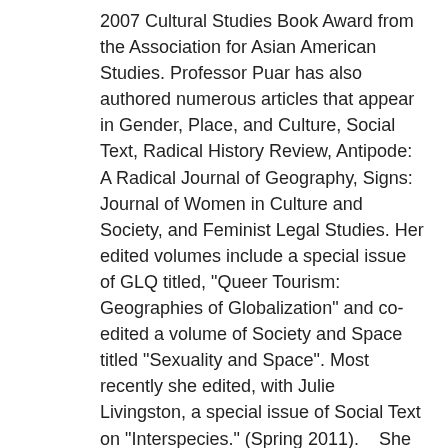2007 Cultural Studies Book Award from the Association for Asian American Studies. Professor Puar has also authored numerous articles that appear in Gender, Place, and Culture, Social Text, Radical History Review, Antipode: A Radical Journal of Geography, Signs: Journal of Women in Culture and Society, and Feminist Legal Studies. Her edited volumes include a special issue of GLQ titled, "Queer Tourism: Geographies of Globalization" and co-edited a volume of Society and Space titled "Sexuality and Space". Most recently she edited, with Julie Livingston, a special issue of Social Text on "Interspecies." (Spring 2011).    She is currently working on a new book on queer disability studies and theories of affect and assemblage titled Affective Politics: States of Capacity and Debility. Professor Puar is also a contributor to the Guardian and The Huffington Post, as well as Bully Bloggers (bullybloggers.com) and Oh! Industry (ohindustry.com). Her op-eds have focused on “pinkwashing” in gay and lesbian activism, queer Islamophobia, and the limits and possibilities of the It Gets Better campaign.